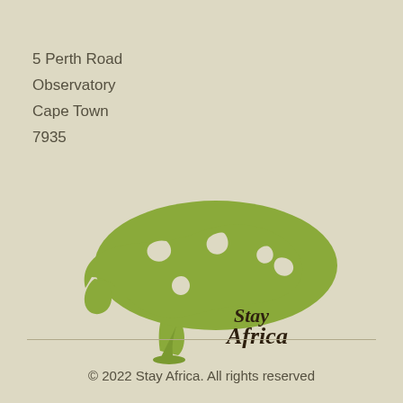5 Perth Road
Observatory
Cape Town
7935
[Figure (logo): Stay Africa logo: a stylized acacia tree whose canopy is shaped like a world map silhouette in olive green, with the cursive text 'Stay Africa' in dark brown beside the trunk]
© 2022 Stay Africa. All rights reserved